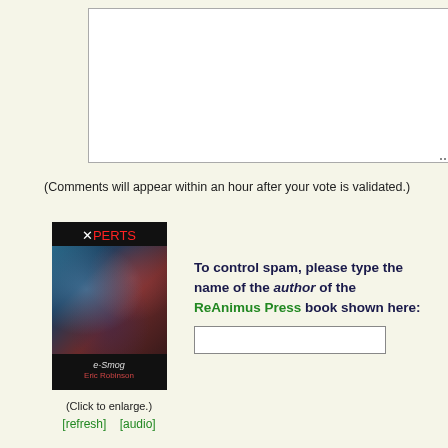[Figure (other): Empty text area input box with resize handle at bottom right]
(Comments will appear within an hour after your vote is validated.)
[Figure (photo): Book cover of 'XPERTS: e-Smog' by ReAnimus Press, showing a dark sci-fi cover with red and blue abstract imagery]
(Click to enlarge.)
[refresh]  [audio]
To control spam, please type the name of the author of the ReAnimus Press book shown here: